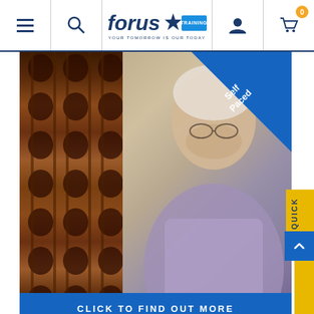Forus Training - YOUR TOMORROW IS OUR TODAY
[Figure (photo): Man with white hair and glasses in a music shop surrounded by violins on the wall, with a blue diagonal 'Self Paced' badge in the top right corner]
CLICK TO FIND OUT MORE
Customer Service - Self Paced Course
Live lectures via LMS
Optional Learner Pack (€25 Postage)
Online quizzes via LMS